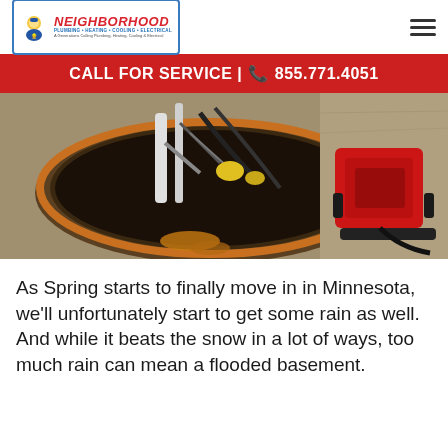Neighborhood Plumbing Heating Cooling Electrical — A Generations Calling Plumbing, Heating, Cooling & Electrical
CALL FOR SERVICE | ☎ 855.771.4051
[Figure (photo): Overhead view of a sump pump pit with pipes and wiring, next to a red electric motor/pump unit on a concrete floor.]
As Spring starts to finally move in in Minnesota, we'll unfortunately start to get some rain as well. And while it beats the snow in a lot of ways, too much rain can mean a flooded basement.